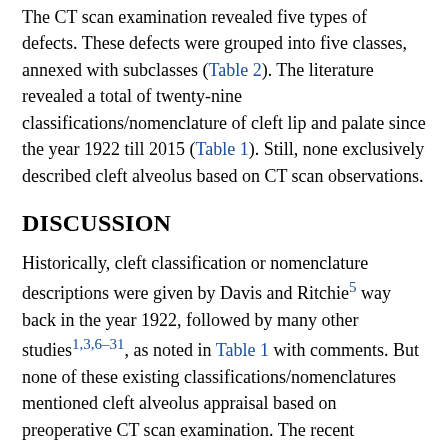The CT scan examination revealed five types of defects. These defects were grouped into five classes, annexed with subclasses (Table 2). The literature revealed a total of twenty-nine classifications/nomenclature of cleft lip and palate since the year 1922 till 2015 (Table 1). Still, none exclusively described cleft alveolus based on CT scan observations.
DISCUSSION
Historically, cleft classification or nomenclature descriptions were given by Davis and Ritchie5 way back in the year 1922, followed by many other studies1,3,6–31, as noted in Table 1 with comments. But none of these existing classifications/nomenclatures mentioned cleft alveolus appraisal based on preoperative CT scan examination. The recent explanation of cleft alveolus has noted the historical discrimination of distinct bir it from the related